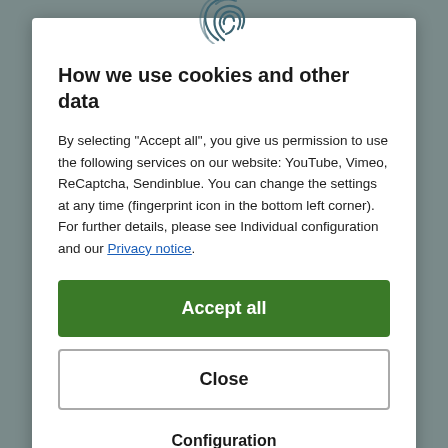[Figure (illustration): Fingerprint icon in dark teal/blue color centered at top of modal dialog]
How we use cookies and other data
By selecting "Accept all", you give us permission to use the following services on our website: YouTube, Vimeo, ReCaptcha, Sendinblue. You can change the settings at any time (fingerprint icon in the bottom left corner). For further details, please see Individual configuration and our Privacy notice.
Accept all
Close
Configuration